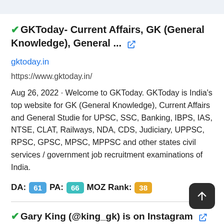✓GKToday- Current Affairs, GK (General Knowledge), General ... 🔗
gktoday.in
https://www.gktoday.in/
Aug 26, 2022 · Welcome to GKToday. GKToday is India's top website for GK (General Knowledge), Current Affairs and General Studie for UPSC, SSC, Banking, IBPS, IAS, NTSE, CLAT, Railways, NDA, CDS, Judiciary, UPPSC, RPSC, GPSC, MPSC, MPPSC and other states civil services / government job recruitment examinations of India.
DA: 61  PA: 66  MOZ Rank: 38
✓Gary King (@king_gk) is on Instagram 🔗
instagram.com